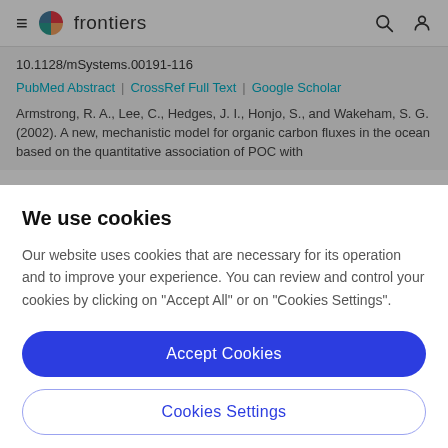frontiers
10.1128/mSystems.00191-116
PubMed Abstract | CrossRef Full Text | Google Scholar
Armstrong, R. A., Lee, C., Hedges, J. I., Honjo, S., and Wakeham, S. G. (2002). A new, mechanistic model for organic carbon fluxes in the ocean based on the quantitative association of POC with
We use cookies
Our website uses cookies that are necessary for its operation and to improve your experience. You can review and control your cookies by clicking on "Accept All" or on "Cookies Settings".
Accept Cookies
Cookies Settings